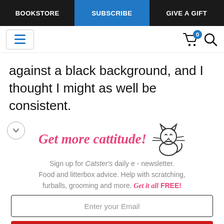BOOKSTORE | SUBSCRIBE | GIVE A GIFT
[Figure (screenshot): Navigation toolbar with hamburger menu icon, shopping cart with badge showing 0, and search icon]
against a black background, and I thought I might as well be consistent.
[Figure (illustration): Promotional newsletter signup box: 'Get more cattitude!' with a cartoon cat illustration. Sign up for Catster's daily e-newsletter. Food and litterbox advice. Help with scratching, furballs, grooming and more. Get it all FREE! Email input field and YES! SIGN ME UP button.]